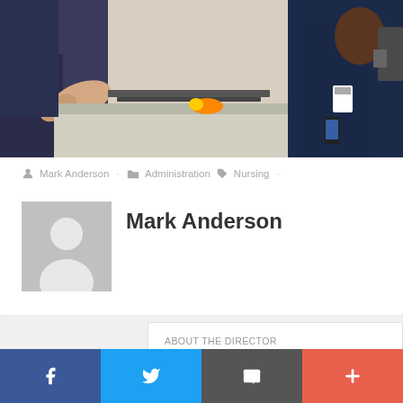[Figure (photo): Photo of medical staff working at a counter/desk in what appears to be a hospital or clinical setting. People in dark uniforms.]
Mark Anderson · Administration · Nursing ·
[Figure (photo): Default grey avatar/placeholder image for user Mark Anderson]
Mark Anderson
ABOUT THE DIRECTOR
f (Facebook) | Twitter | Email | +